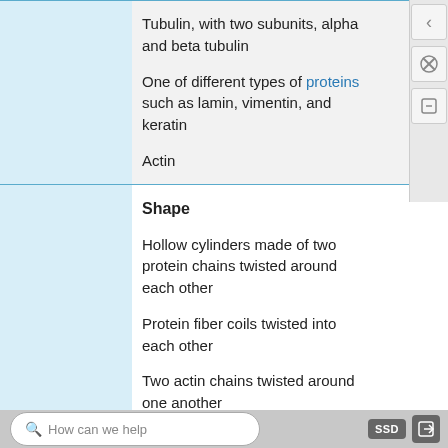|  | Content |
| --- | --- |
|  | Tubulin, with two subunits, alpha and beta tubulin

One of different types of proteins such as lamin, vimentin, and keratin

Actin |
|  | Shape

Hollow cylinders made of two protein chains twisted around each other

Protein fiber coils twisted into each other

Two actin chains twisted around one another |
|  | Main Functions |
How can we help